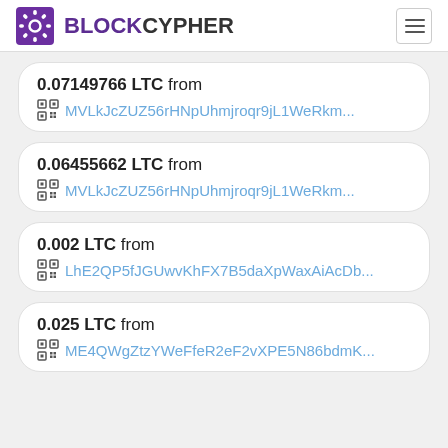BLOCKCYPHER
0.07149766 LTC from MVLkJcZUZ56rHNpUhmjroqr9jL1WeRkm...
0.06455662 LTC from MVLkJcZUZ56rHNpUhmjroqr9jL1WeRkm...
0.002 LTC from LhE2QP5fJGUwvKhFX7B5daXpWaxAiAcDb...
0.025 LTC from ME4QWgZtzYWeFfeR2eF2vXPE5N86bdmK...